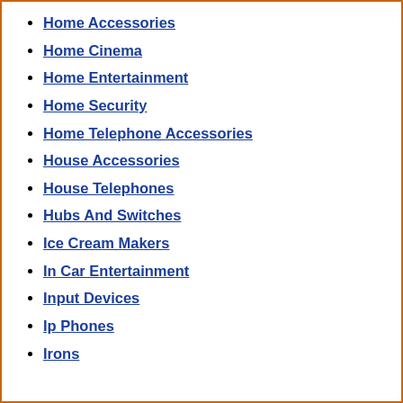Home Accessories
Home Cinema
Home Entertainment
Home Security
Home Telephone Accessories
House Accessories
House Telephones
Hubs And Switches
Ice Cream Makers
In Car Entertainment
Input Devices
Ip Phones
Irons